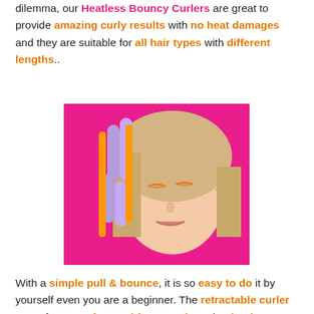dilemma, our Heatless Bouncy Curlers are great to provide amazing curly results with no heat damages and they are suitable for all hair types with different lengths..
[Figure (photo): A woman with blonde hair wearing purple/lavender heatless curlers and orange fabric strips in her hair, posed against a pink background, eyes closed, wearing orange eyeshadow makeup.]
With a simple pull & bounce, it is so easy to do it by yourself even you are a beginner. The retractable curler strap forms perfect and fancy curls and volumise your hair in just a few